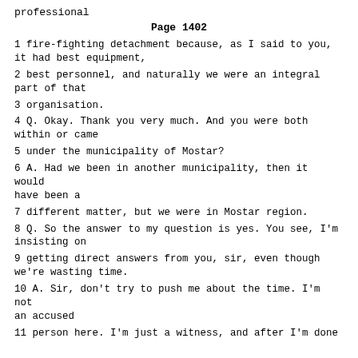professional
Page 1402
1 fire-fighting detachment because, as I said to you, it had best equipment,
2 best personnel, and naturally we were an integral part of that
3 organisation.
4 Q. Okay. Thank you very much. And you were both within or came
5 under the municipality of Mostar?
6 A. Had we been in another municipality, then it would have been a
7 different matter, but we were in Mostar region.
8 Q. So the answer to my question is yes. You see, I'm insisting on
9 getting direct answers from you, sir, even though we're wasting time.
10 A. Sir, don't try to push me about the time. I'm not an accused
11 person here. I'm just a witness, and after I'm done